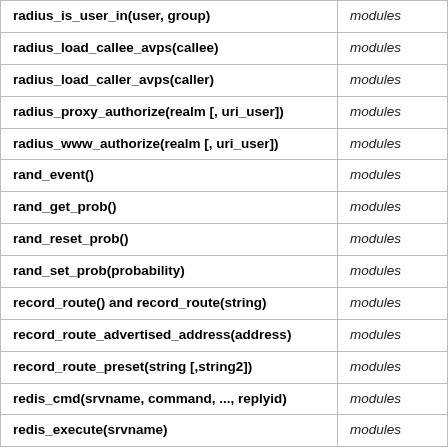| Function | Source |
| --- | --- |
| radius_is_user_in(user, group) | modules |
| radius_load_callee_avps(callee) | modules |
| radius_load_caller_avps(caller) | modules |
| radius_proxy_authorize(realm [, uri_user]) | modules |
| radius_www_authorize(realm [, uri_user]) | modules |
| rand_event() | modules |
| rand_get_prob() | modules |
| rand_reset_prob() | modules |
| rand_set_prob(probability) | modules |
| record_route() and record_route(string) | modules |
| record_route_advertised_address(address) | modules |
| record_route_preset(string [,string2]) | modules |
| redis_cmd(srvname, command, ..., replyid) | modules |
| redis_execute(srvname) | modules |